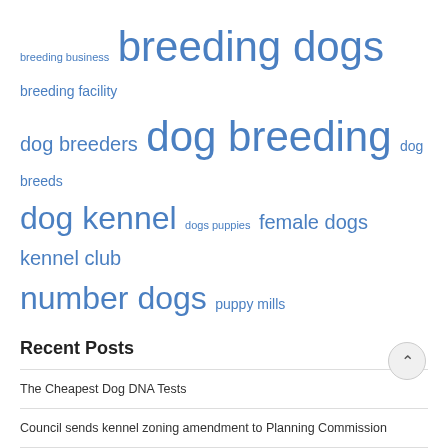[Figure (other): Tag cloud with dog breeding related terms in various font sizes, all in blue: breeding business, breeding dogs, breeding facility, dog breeders, dog breeding, dog breeds, dog kennel, dogs puppies, female dogs, kennel club, number dogs, puppy mills]
Recent Posts
The Cheapest Dog DNA Tests
Council sends kennel zoning amendment to Planning Commission
Application Withdrawn for Proposed Dog Breeding Facility North of Calgary – Calgary
Local relief calls for the development of a dog breeding facility
Appeal filed against $825,000 kennel project north of Calgary – CalgaryNews WAALI
Appeal filed against $825,000 dog breeding project north of Calgary –